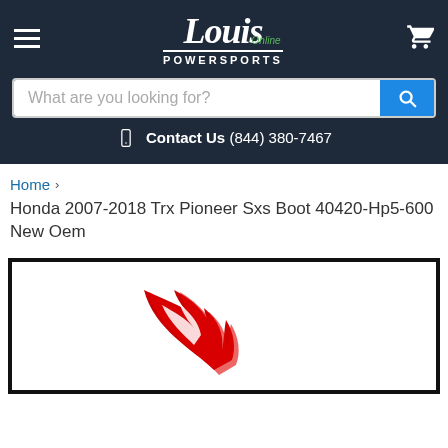[Figure (logo): Louis Online Powersports logo with stylized script text and cart icon on dark navy header]
What are you looking for?
Contact Us (844) 380-7467
Home > Honda 2007-2018 Trx Pioneer Sxs Boot 40420-Hp5-600 New Oem
[Figure (logo): Honda wing logo in red on white background inside black bordered frame]